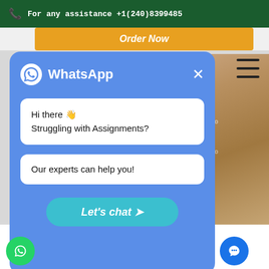For any assistance +1(240)8399485
Order Now
[Figure (screenshot): WhatsApp chat popup widget with blue background, showing messages 'Hi there 👋 Struggling with Assignments?' and 'Our experts can help you!' with a 'Let's chat >' button]
complete Guide for Effect Essay: [C]e, Methods with Examples and Writing[T]ps